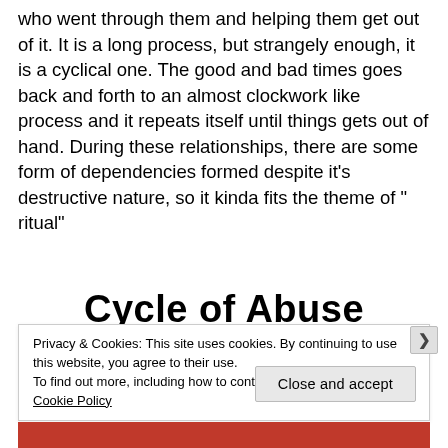who went through them and helping them get out of it. It is a long process, but strangely enough, it is a cyclical one. The good and bad times goes back and forth to an almost clockwork like process and it repeats itself until things gets out of hand. During these relationships, there are some form of dependencies formed despite it’s destructive nature, so it kinda fits the theme of “ ritual”
Cycle of Abuse
Privacy & Cookies: This site uses cookies. By continuing to use this website, you agree to their use.
To find out more, including how to control cookies, see here: Cookie Policy
Close and accept